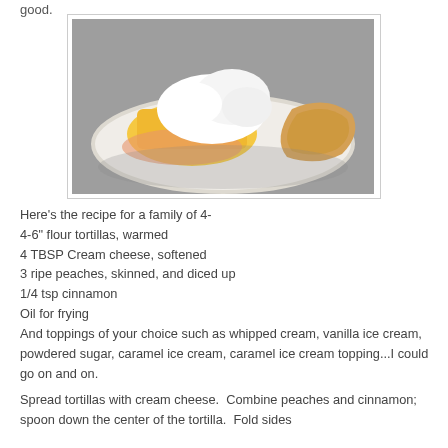good.
[Figure (photo): A white plate with fried tortilla filled with sliced peaches, topped with whipped cream, served on a gray surface.]
Here's the recipe for a family of 4-
4-6" flour tortillas, warmed
4 TBSP Cream cheese, softened
3 ripe peaches, skinned, and diced up
1/4 tsp cinnamon
Oil for frying
And toppings of your choice such as whipped cream, vanilla ice cream, powdered sugar, caramel ice cream, caramel ice cream topping...I could go on and on.
Spread tortillas with cream cheese.  Combine peaches and cinnamon; spoon down the center of the tortilla.  Fold sides to keep filling inside.